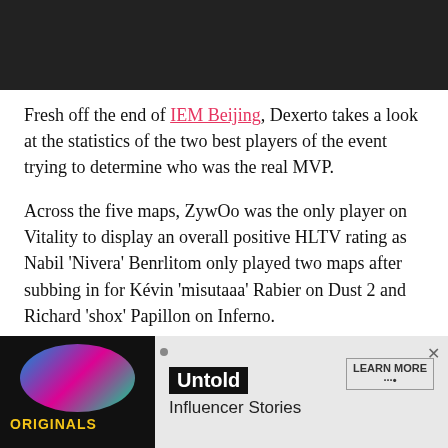Fresh off the end of IEM Beijing, Dexerto takes a look at the statistics of the two best players of the event trying to determine who was the real MVP.
Across the five maps, ZywOo was the only player on Vitality to display an overall positive HLTV rating as Nabil 'Nivera' Benrlitom only played two maps after subbing in for Kévin 'misutaaa' Rabier on Dust 2 and Richard 'shox' Papillon on Inferno.
Article continues after ad
[Figure (other): Advertisement banner showing Originals logo with colorful circular graphic and text 'Untold Influencer Stories' with 'LEARN MORE' button and X close button]